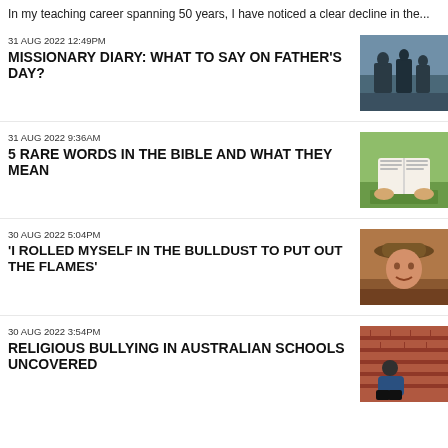In my teaching career spanning 50 years, I have noticed a clear decline in the...
31 AUG 2022 12:49PM
MISSIONARY DIARY: WHAT TO SAY ON FATHER'S DAY?
[Figure (photo): Two adults and a child sitting on a bench viewed from behind]
31 AUG 2022 9:36AM
5 RARE WORDS IN THE BIBLE AND WHAT THEY MEAN
[Figure (photo): Hands holding an open Bible outdoors]
30 AUG 2022 5:04PM
'I ROLLED MYSELF IN THE BULLDUST TO PUT OUT THE FLAMES'
[Figure (photo): Elderly man wearing a hat smiling]
30 AUG 2022 3:54PM
RELIGIOUS BULLYING IN AUSTRALIAN SCHOOLS UNCOVERED
[Figure (photo): Child sitting alone against a brick wall]